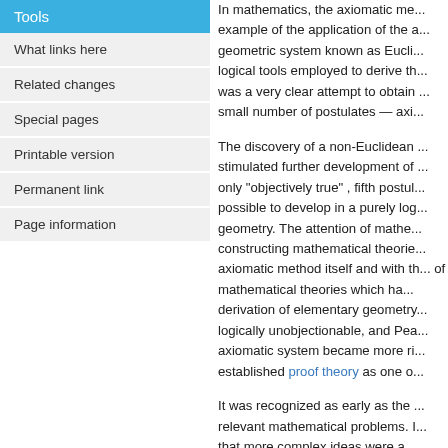Tools
What links here
Related changes
Special pages
Printable version
Permanent link
Page information
In mathematics, the axiomatic me... example of the application of the a... geometric system known as Eucli... logical tools employed to derive th... was a very clear attempt to obtain ... small number of postulates — axi...
The discovery of a non-Euclidean ... stimulated further development of ... only "objectively true" , fifth postul... possible to develop in a purely log... geometry. The attention of mathe... constructing mathematical theorie... axiomatic method itself and with th... of mathematical theories which ha... derivation of elementary geometry... logically unobjectionable, and Pea... axiomatic system became more ri... established proof theory as one o...
It was recognized as early as the ... relevant mathematical problems. I... that more complex ideas were a...